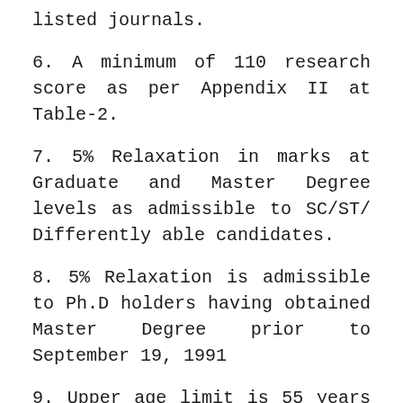listed journals.
6. A minimum of 110 research score as per Appendix II at Table-2.
7. 5% Relaxation in marks at Graduate and Master Degree levels as admissible to SC/ST/ Differently able candidates.
8. 5% Relaxation is admissible to Ph.D holders having obtained Master Degree prior to September 19, 1991
9. Upper age limit is 55 years on the date of application as per prescribed